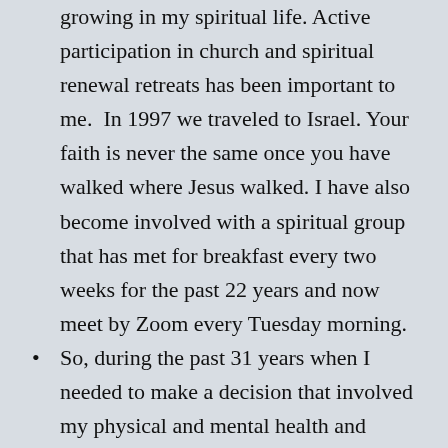growing in my spiritual life. Active participation in church and spiritual renewal retreats has been important to me.  In 1997 we traveled to Israel. Your faith is never the same once you have walked where Jesus walked. I have also become involved with a spiritual group that has met for breakfast every two weeks for the past 22 years and now meet by Zoom every Tuesday morning.
So, during the past 31 years when I needed to make a decision that involved my physical and mental health and financial questions, my decision was based on my plan to live